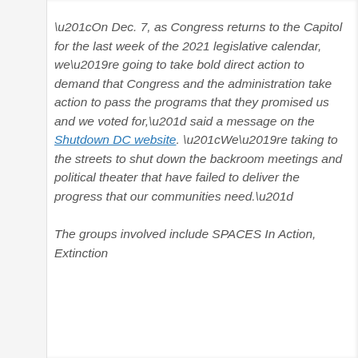“On Dec. 7, as Congress returns to the Capitol for the last week of the 2021 legislative calendar, we’re going to take bold direct action to demand that Congress and the administration take action to pass the programs that they promised us and we voted for,” said a message on the Shutdown DC website. “We’re taking to the streets to shut down the backroom meetings and political theater that have failed to deliver the progress that our communities need.”
The groups involved include SPACES In Action, Extinction